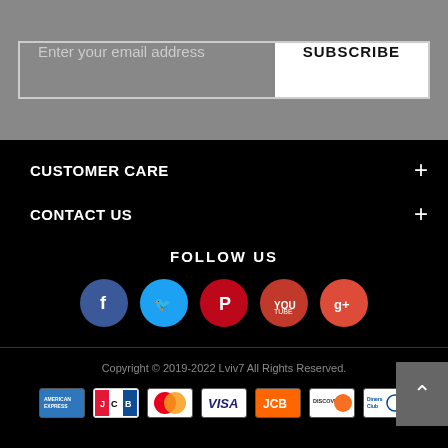Enter your email address
SUBSCRIBE
CUSTOMER CARE
CONTACT US
FOLLOW US
[Figure (infographic): Social media icons: Facebook (blue circle), Twitter (light blue circle), Pinterest (red circle), YouTube (red circle), Google+ (red-orange circle)]
Copyright © 2019-2022 Lviv7 All Rights Reserved.
[Figure (infographic): Payment method icons: American Express, JCB (red), Mastercard, Visa, JCB, Discover, Diners Club]